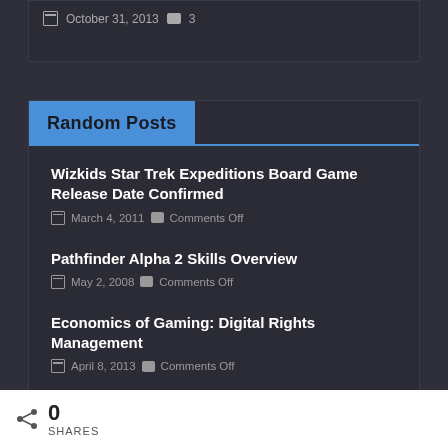October 31, 2013  3
Random Posts
Wizkids Star Trek Expeditions Board Game Release Date Confirmed
March 4, 2011  Comments Off
Pathfinder Alpha 2 Skills Overview
May 2, 2008  Comments Off
Economics of Gaming: Digital Rights Management
April 8, 2013  Comments Off
How Inserting Romance Can Feel Hopeless
0 SHARES